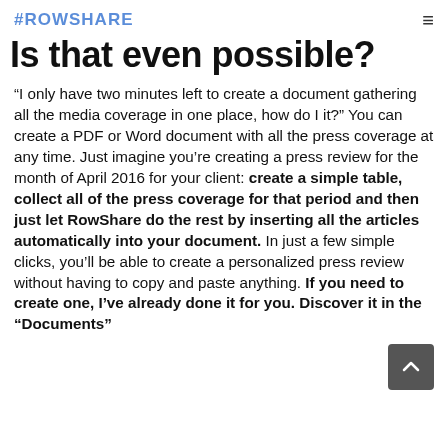#ROWSHARE
Is that even possible?
“I only have two minutes left to create a document gathering all the media coverage in one place, how do I it?” You can create a PDF or Word document with all the press coverage at any time. Just imagine you’re creating a press review for the month of April 2016 for your client: create a simple table, collect all of the press coverage for that period and then just let RowShare do the rest by inserting all the articles automatically into your document. In just a few simple clicks, you’ll be able to create a personalized press review without having to copy and paste anything. If you need to create one, I’ve already done it for you. Discover it in the “Documents” section found in New RowShare, it’s already done.